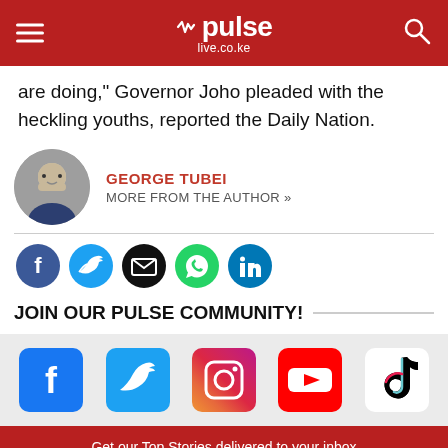pulse live.co.ke
are doing," Governor Joho pleaded with the heckling youths, reported the Daily Nation.
GEORGE TUBEI
MORE FROM THE AUTHOR »
[Figure (infographic): Social media share icons: Facebook, Twitter, Email, WhatsApp, LinkedIn]
JOIN OUR PULSE COMMUNITY!
[Figure (infographic): Social media platform icons: Facebook, Twitter, Instagram, YouTube, TikTok]
Get our Top Stories delivered to your inbox